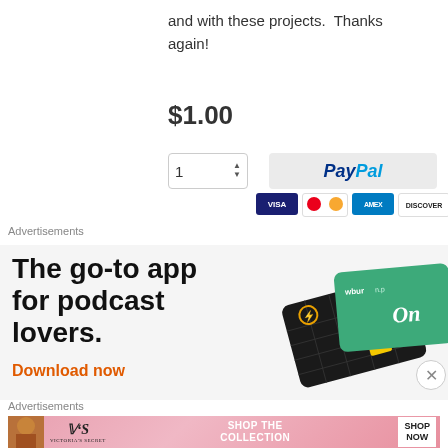and with these projects.  Thanks again!
$1.00
[Figure (screenshot): Quantity selector showing '1' with up/down arrows, and PayPal payment button with VISA, Mastercard, AMEX, DISCOVER card icons below]
Advertisements
[Figure (infographic): Advertisement for a podcast app. Text reads 'The go-to app for podcast lovers.' with 'Download now' in orange. Shows podcast app cards on the right.]
Advertisements
[Figure (infographic): Victoria's Secret advertisement banner with model photo, VS logo, 'SHOP THE COLLECTION' text, and 'SHOP NOW' button]